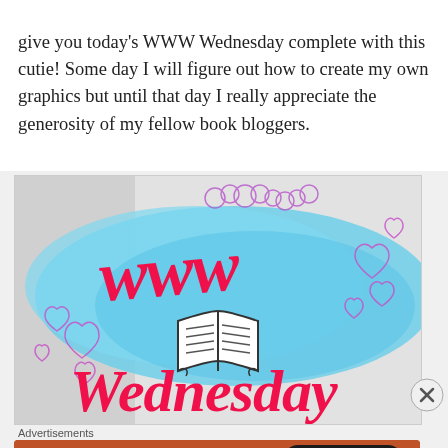give you today's WWW Wednesday complete with this cutie! Some day I will figure out how to create my own graphics but until that day I really appreciate the generosity of my fellow book bloggers.
[Figure (illustration): WWW Wednesday graphic with decorative script lettering in red/pink on a blue brushstroke background, surrounded by purple heart doodles, with an open book icon in the center. The text reads 'www Wednesday'.]
Advertisements
[Figure (screenshot): DuckDuckGo advertisement banner with orange background. Text: 'Search, browse, and email with more privacy. All in One Free App' with a button, and a smartphone mockup showing the DuckDuckGo logo and app.]